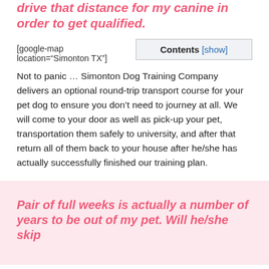drive that distance for my canine in order to get qualified.
[google-map location="Simonton TX"]
Contents [show]
Not to panic … Simonton Dog Training Company delivers an optional round-trip transport course for your pet dog to ensure you don't need to journey at all. We will come to your door as well as pick-up your pet, transportation them safely to university, and after that return all of them back to your house after he/she has actually successfully finished our training plan.
Pair of full weeks is actually a number of years to be out of my pet. Will he/she skip